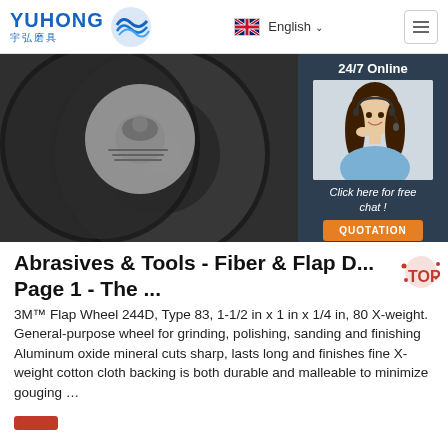YUHONG 宇弘磨具 | English | Navigation
[Figure (photo): Close-up photo of stacked abrasive cutting/grinding discs with an eagle emblem visible, dark background. Overlaid with a customer service chat widget showing '24/7 Online', a photo of a female customer service representative with a headset, 'Click here for free chat!' text, and an orange QUOTATION button.]
Abrasives & Tools - Fiber & Flap D... Page 1 - The ...
3M™ Flap Wheel 244D, Type 83, 1-1/2 in x 1 in x 1/4 in, 80 X-weight. General-purpose wheel for grinding, polishing, sanding and finishing Aluminum oxide mineral cuts sharp, lasts long and finishes fine X-weight cotton cloth backing is both durable and malleable to minimize gouging …